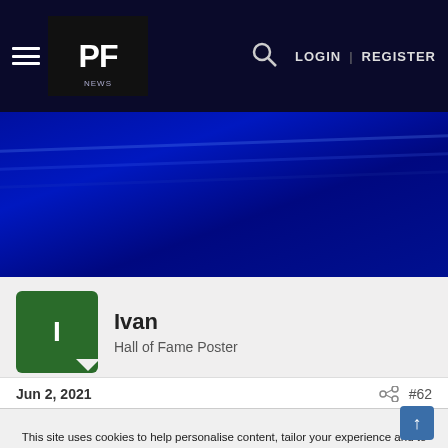PF | LOGIN | REGISTER
[Figure (screenshot): Dark blue banner image with subtle light streaks across a deep blue background]
Ivan
Hall of Fame Poster
Jun 2, 2021  #62
This site uses cookies to help personalise content, tailor your experience and to keep you logged in if you register.
By continuing to use this site, you are consenting to our use of cookies.
✓ Accept  Learn more...